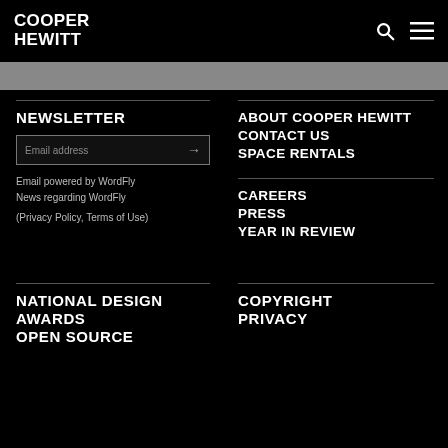COOPER HEWITT
NEWSLETTER
Email address
Email powered by WordFly
News regarding WordFly
(Privacy Policy, Terms of Use)
ABOUT COOPER HEWITT
CONTACT US
SPACE RENTALS
CAREERS
PRESS
YEAR IN REVIEW
NATIONAL DESIGN AWARDS
OPEN SOURCE
COPYRIGHT
PRIVACY